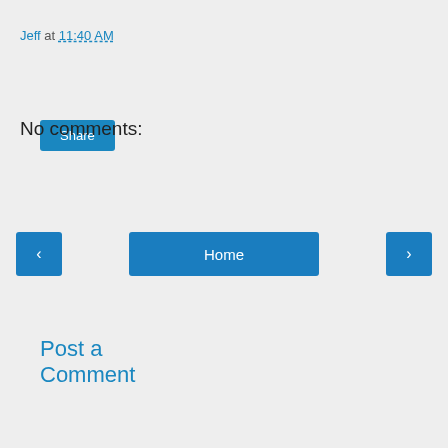Jeff at 11:40 AM
Share
No comments:
Post a Comment
‹
Home
›
View web version